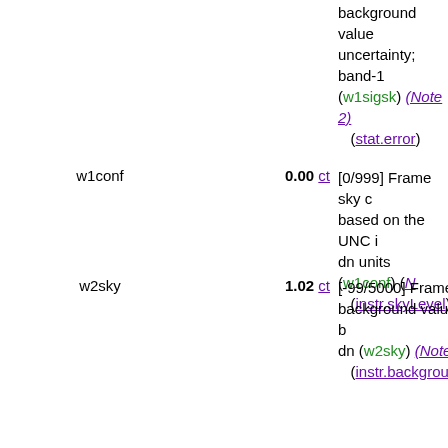background value uncertainty; band-1 (w1sigsk) (Note 2) (stat.error)
w1conf  0.00 ct  [0/999] Frame sky confidence based on the UNC image in dn units (w1conf) (Note 2) (instr.skyLevel)
w2sky  1.02 ct  [-99/5000] Frame sky background value, band-2 dn (w2sky) (Note 2) (instr.background)
w2sigsk  17.0 ct  [0.7/999] Frame sky background value uncertainty; band-2 (w2sigsk) (Note 2) (stat.error)
w2conf  3.39 ct  [0/999] Frame sky confidence based on the UNC image in dn units (w2conf) (Note 2) (instr.skyLevel)
w1NM  9  [0/221] Number of single-exposure flux measurements with SNR>3, band-1